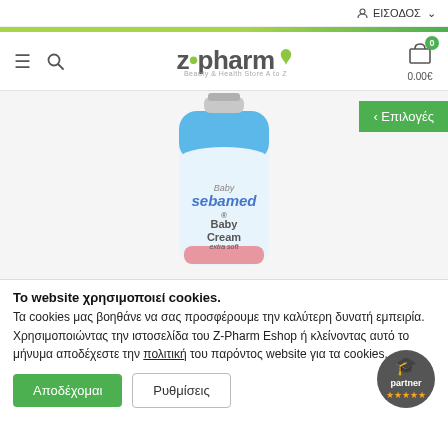ΕΙΣΟΔΟΣ
[Figure (logo): Z-Pharm logo with green leaf accent and tagline 'Beauty & Health Store A to Z']
[Figure (photo): Baby Sebamed Baby Cream extra soft product tube, white and blue packaging]
< Επιλογές
Το website χρησιμοποιεί cookies. Τα cookies μας βοηθάνε να σας προσφέρουμε την καλύτερη δυνατή εμπειρία. Χρησιμοποιώντας την ιστοσελίδα του Z-Pharm Eshop ή κλείνοντας αυτό το μήνυμα αποδέχεστε την πολιτική του παρόντος website για τα cookies.
Αποδέχομαι
Ρυθμίσεις